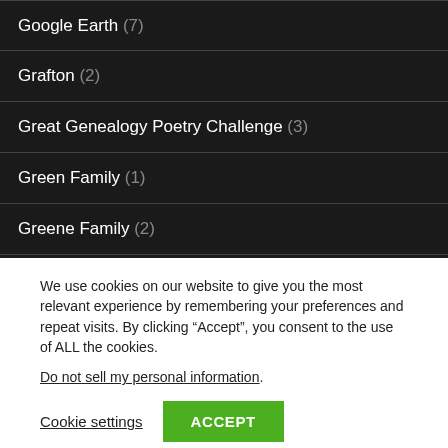Google Earth (7)
Grafton (2)
Great Genealogy Poetry Challenge (3)
Green Family (1)
Greene Family (2)
Grout (1)
Grover (1)
Grubb (1)
We use cookies on our website to give you the most relevant experience by remembering your preferences and repeat visits. By clicking “Accept”, you consent to the use of ALL the cookies.
Do not sell my personal information.
Cookie settings  ACCEPT